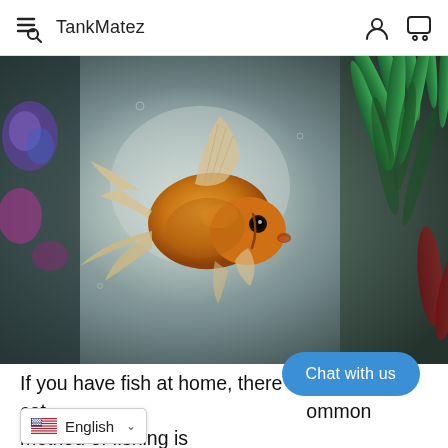TankMatez
[Figure (photo): A goldfish with flowing fins swimming in an aquarium with blurred aquatic plants in the background. The fish is orange/golden colored with translucent white fins. Green aquatic plant visible on the right side, colorful decor on the left.]
If you have fish at home, there ar... s to cat... ommon method of fishing is
Chat with us
English